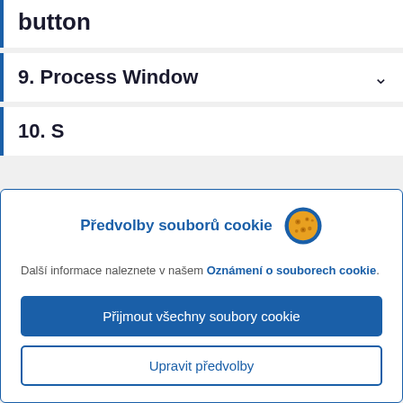button
9. Process Window
10. Select Toolkit
Předvolby souborů cookie
Další informace naleznete v našem Oznámení o souborech cookie.
Přijmout všechny soubory cookie
Upravit předvolby